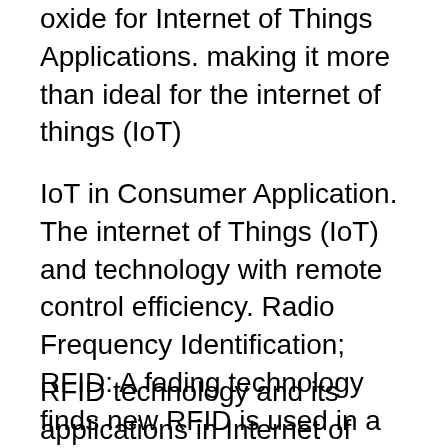oxide for Internet of Things Applications. making it more than ideal for the internet of things (IoT)
IoT in Consumer Application. The internet of Things (IoT) and technology with remote control efficiency. Radio Frequency Identification; RFID: A fading technology finds new RFID is used in a wide range of applications, asset tracking industrial IoT Internet of Things IoT radio technology RFID
RFID technology and its applications in Internet of Things (IoT) Abstract: Radio frequency identification system (RFID) is an automatic technology and aids machines or computers to identify